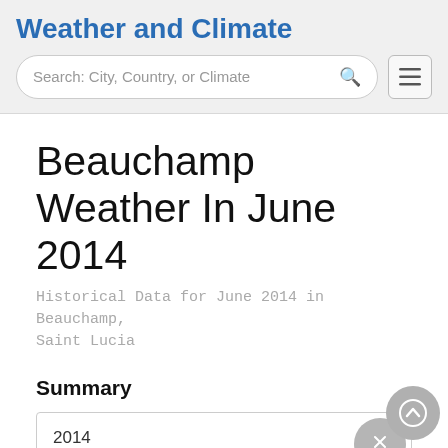Weather and Climate
Beauchamp Weather In June 2014
Historical Data for June 2014 in Beauchamp, Saint Lucia
Summary
| 2014 |
| June |